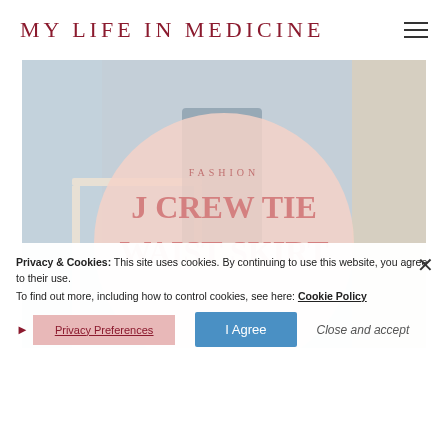MY LIFE IN MEDICINE
[Figure (photo): Blog header image for fashion post about J Crew Tie Waist Skirt, showing a person in a blue skirt with a large pink circular overlay containing the article title]
FASHION
J CREW TIE WAIST SKIRT
Privacy & Cookies: This site uses cookies. By continuing to use this website, you agree to their use. To find out more, including how to control cookies, see here: Cookie Policy
Privacy Preferences
I Agree
Close and accept